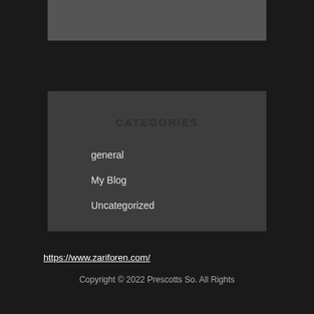CATEGORIES
general
My Blog
Uncategorized
https://www.zariforen.com/
Copyright © 2022 Prescotts So. All Rights